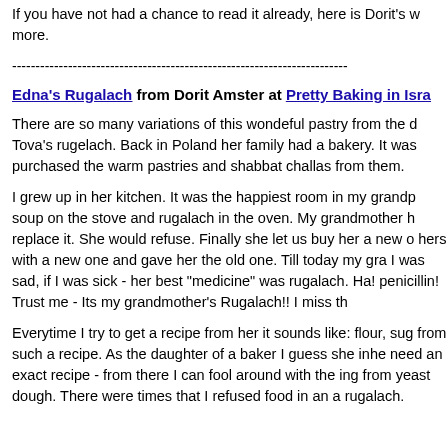If you have not had a chance to read it already, here is Dorit's w more.
------------------------------------------------------------------------
Edna's Rugalach from Dorit Amster at Pretty Baking in Isra
There are so many variations of this wondeful pastry from the d Tova's rugelach. Back in Poland her family had a bakery. It was purchased the warm pastries and shabbat challas from them.
I grew up in her kitchen. It was the happiest room in my grandp soup on the stove and rugalach in the oven. My grandmother h replace it. She would refuse. Finally she let us buy her a new o hers with a new one and gave her the old one. Till today my gra I was sad, if I was sick - her best "medicine" was rugalach. Ha! penicillin! Trust me - Its my grandmother's Rugalach!! I miss th
Everytime I try to get a recipe from her it sounds like: flour, sug from such a recipe. As the daughter of a baker I guess she inhe need an exact recipe - from there I can fool around with the ing from yeast dough. There were times that I refused food in an a rugalach.